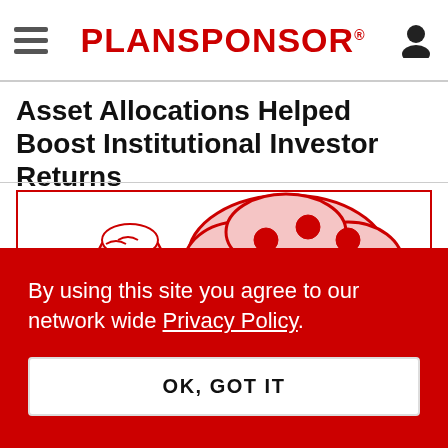PLANSPONSOR
Asset Allocations Helped Boost Institutional Investor Returns
[Figure (illustration): Cartoon illustration in red and pink of a man in a suit looking at a stylized tree with round red fruit/berries, drawn in a simple line-art style with red outlines on a white background.]
By using this site you agree to our network wide Privacy Policy.
OK, GOT IT